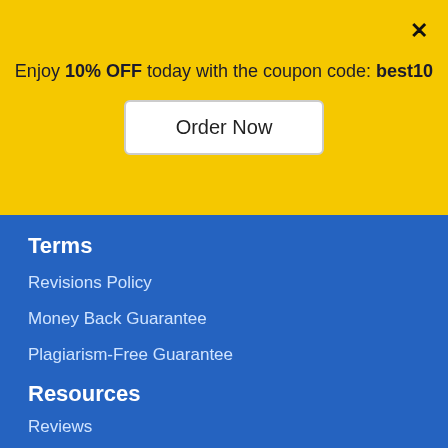Enjoy 10% OFF today with the coupon code: best10
Order Now
Terms
Revisions Policy
Money Back Guarantee
Plagiarism-Free Guarantee
Resources
Reviews
Customer Reviews
FAQs
Chat s